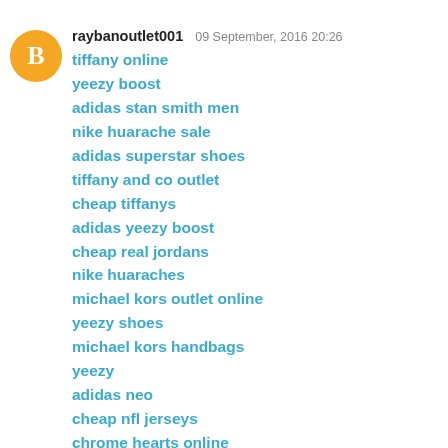raybanoutlet001  09 September, 2016 20:26
tiffany online
yeezy boost
adidas stan smith men
nike huarache sale
adidas superstar shoes
tiffany and co outlet
cheap tiffanys
adidas yeezy boost
cheap real jordans
nike huaraches
michael kors outlet online
yeezy shoes
michael kors handbags
yeezy
adidas neo
cheap nfl jerseys
chrome hearts online
cheap air jordan
air jordan